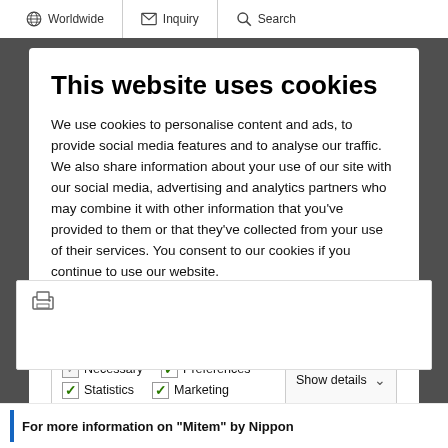Worldwide   Inquiry   Search
This website uses cookies
We use cookies to personalise content and ads, to provide social media features and to analyse our traffic. We also share information about your use of our site with our social media, advertising and analytics partners who may combine it with other information that you've provided to them or that they've collected from your use of their services. You consent to our cookies if you continue to use our website.
OK
Necessary   Preferences   Statistics   Marketing   Show details
For more information on “Mitem” by Nippon